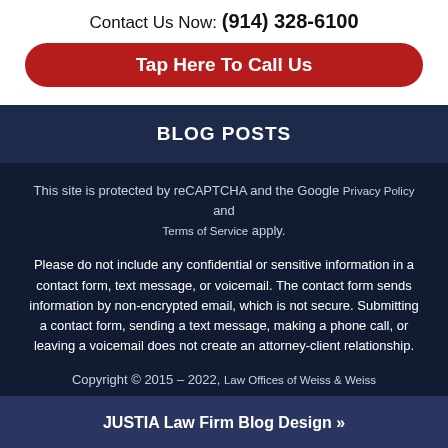Contact Us Now: (914) 328-6100
Tap Here To Call Us
BLOG POSTS
This site is protected by reCAPTCHA and the Google Privacy Policy and Terms of Service apply.
Please do not include any confidential or sensitive information in a contact form, text message, or voicemail. The contact form sends information by non-encrypted email, which is not secure. Submitting a contact form, sending a text message, making a phone call, or leaving a voicemail does not create an attorney-client relationship.
Copyright © 2015 – 2022, Law Offices of Weiss & Weiss
JUSTIA Law Firm Blog Design »